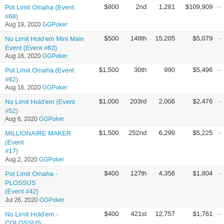| Event | Buy-in | Place | Entries | Prize |  |
| --- | --- | --- | --- | --- | --- |
| Pot Limit Omaha (Event #68)
Aug 19, 2020 GGPoker | $800 | 2nd | 1,281 | $109,909 | – |
| No Limit Hold'em Mini Main Event (Event #63)
Aug 16, 2020 GGPoker | $500 | 148th | 15,205 | $5,079 | – |
| Pot Limit Omaha (Event #62)
Aug 16, 2020 GGPoker | $1,500 | 30th | 990 | $5,496 | – |
| No Limit Hold'em (Event #52)
Aug 6, 2020 GGPoker | $1,000 | 203rd | 2,006 | $2,476 | – |
| MILLIONAIRE MAKER (Event #17)
Aug 2, 2020 GGPoker | $1,500 | 252nd | 6,299 | $5,225 | – |
| Pot Limit Omaha - PLOSSUS (Event #42)
Jul 26, 2020 GGPoker | $400 | 127th | 4,356 | $1,804 | – |
| No Limit Hold'em - COLOSSUS (Event #10)
Jul 26, 2020 GGPoker | $400 | 421st | 12,757 | $1,761 | – |
| Super Turbo Bounty No Limit Hold'em 6-Handed (Event #34)
Jul 19, 2020 GGPoker | $525 | 172nd | 2,214 | $701 | – |